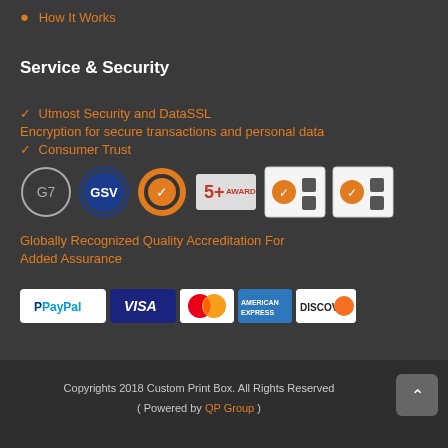How It Works
Service & Security
✓ Utmost Security and DataSSL
Encryption for secure transactions and personal data
✓ Consumer Trust
[Figure (logo): Row of security/accreditation badge logos: G7, GSV, orange checkmark SSL, 5+ award, and two orange checkmark certification badges]
Globally Recognized Quality Accreditation For Added Assurance
[Figure (logo): Payment method logos: PayPal, VISA, Mastercard, American Express, Discover]
Copyrights 2018 Custom Print Box. All Rights Reserved ( Powered by QP Group )